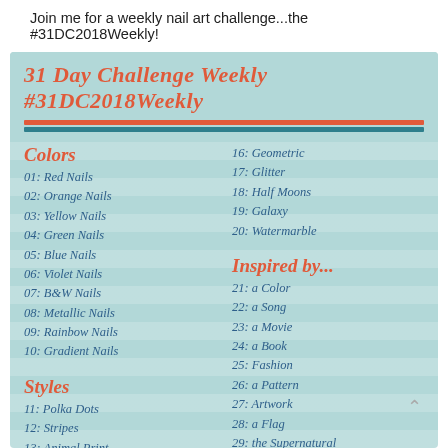Join me for a weekly nail art challenge...the #31DC2018Weekly!
31 Day Challenge Weekly #31DC2018Weekly
Colors
01: Red Nails
02: Orange Nails
03: Yellow Nails
04: Green Nails
05: Blue Nails
06: Violet Nails
07: B&W Nails
08: Metallic Nails
09: Rainbow Nails
10: Gradient Nails
Styles
11: Polka Dots
12: Stripes
13: Animal Print
14: Flowers
16: Geometric
17: Glitter
18: Half Moons
19: Galaxy
20: Watermarble
Inspired by...
21: a Color
22: a Song
23: a Movie
24: a Book
25: Fashion
26: a Pattern
27: Artwork
28: a Flag
29: the Supernatural